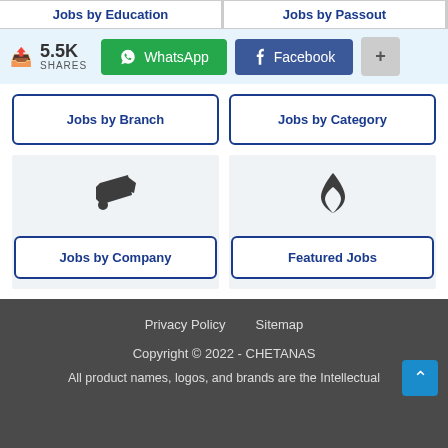Jobs by Education | Jobs by Passout
5.5K SHARES | WhatsApp | Facebook | +
Jobs by Branch
Jobs by Category
[Figure (other): Megaphone icon above Jobs by Company button]
Jobs by Company
[Figure (other): Flame icon above Featured Jobs button]
Featured Jobs
Privacy Policy   Sitemap
Copyright © 2022 - CHETANAS
All product names, logos, and brands are the Intellectual